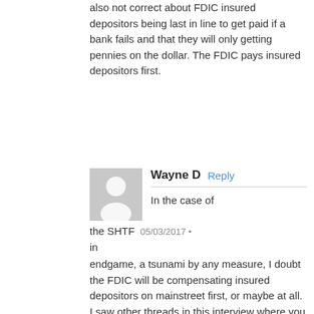also not correct about FDIC insured depositors being last in line to get paid if a bank fails and that they will only getting pennies on the dollar. The FDIC pays insured depositors first.
Wayne D  Reply
In the case of the SHTF  05/03/2017 •
in
endgame, a tsunami by any measure, I doubt the FDIC will be compensating insured depositors on mainstreet first, or maybe at all. I saw other threads in this interview where you discussed FDIC issues. So we'll acknowledge your